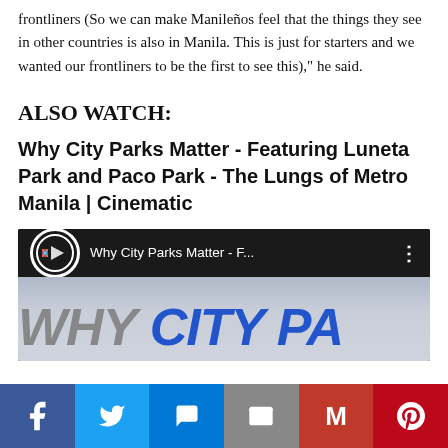frontliners (So we can make Manileños feel that the things they see in other countries is also in Manila. This is just for starters and we wanted our frontliners to be the first to see this)," he said.
ALSO WATCH:
Why City Parks Matter - Featuring Luneta Park and Paco Park - The Lungs of Metro Manila | Cinematic
[Figure (screenshot): YouTube video thumbnail showing 'Why City Parks Matter - F...' with channel logo and partial title text overlay]
Social share bar: Facebook, Twitter, Messenger, Email, Gmail, Pinterest